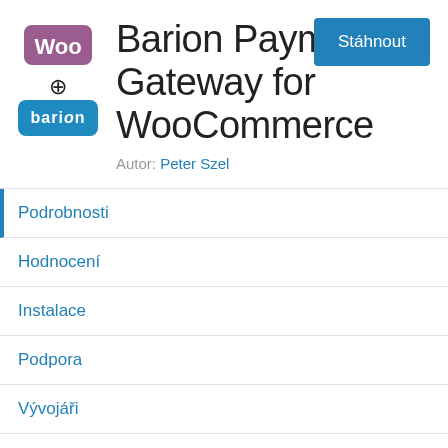[Figure (logo): WooCommerce logo (purple 'Woo' badge) plus sign and Barion logo (blue rounded rectangle with white 'barion' text)]
Barion Payment Gateway for WooCommerce
Autor: Peter Szel
Stáhnout
Podrobnosti
Hodnocení
Instalace
Podpora
Vývojáři
Popis